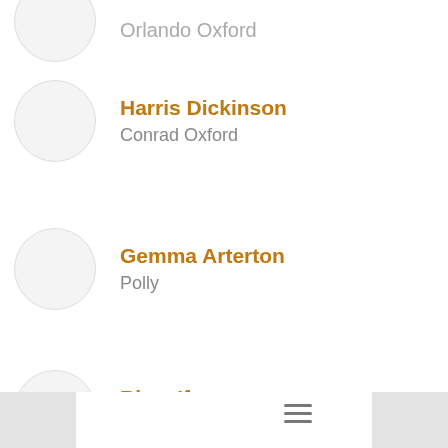Orlando Oxford (partial, cut off at top)
Harris Dickinson — Conrad Oxford
Gemma Arterton — Polly
Rhys Ifans — Grigori Rasputin
Matthew Goode — Morton
Tom Hollander (partial, cut off at bottom)